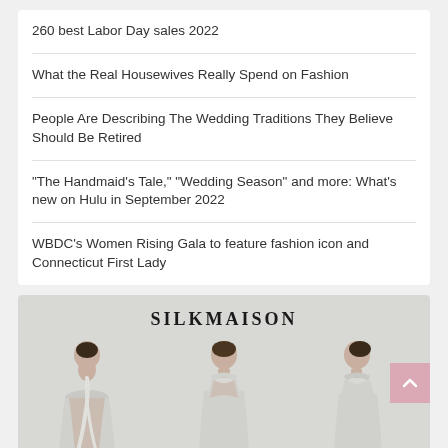260 best Labor Day sales 2022
What the Real Housewives Really Spend on Fashion
People Are Describing The Wedding Traditions They Believe Should Be Retired
“The Handmaid’s Tale,” “Wedding Season” and more: What’s new on Hulu in September 2022
WBDC’s Women Rising Gala to feature fashion icon and Connecticut First Lady
[Figure (photo): SILKMAISON advertisement featuring three female models wearing silver/grey halter-neck silk dresses posed against a light grey background]